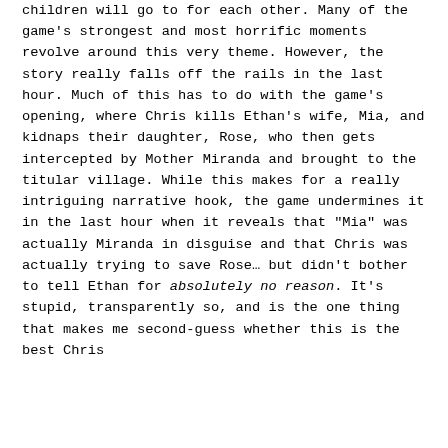children will go to for each other. Many of the game's strongest and most horrific moments revolve around this very theme. However, the story really falls off the rails in the last hour. Much of this has to do with the game's opening, where Chris kills Ethan's wife, Mia, and kidnaps their daughter, Rose, who then gets intercepted by Mother Miranda and brought to the titular village. While this makes for a really intriguing narrative hook, the game undermines it in the last hour when it reveals that "Mia" was actually Miranda in disguise and that Chris was actually trying to save Rose… but didn't bother to tell Ethan for absolutely no reason. It's stupid, transparently so, and is the one thing that makes me second-guess whether this is the best Chris